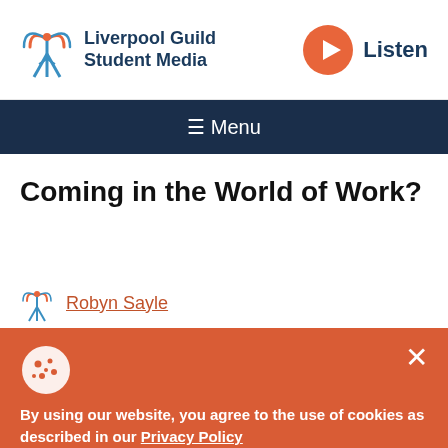[Figure (logo): Liverpool Guild Student Media logo with antenna tower icon in blue/orange and text]
Liverpool Guild Student Media
[Figure (logo): Orange circular play button icon for Listen]
Listen
≡ Menu
Coming in the World of Work?
[Figure (logo): Small antenna tower icon next to author name]
Robyn Sayle
[Figure (illustration): Cookie icon (circle with cookie dots)]
By using our website, you agree to the use of cookies as described in our Privacy Policy
ACCEPT & CONTINUE